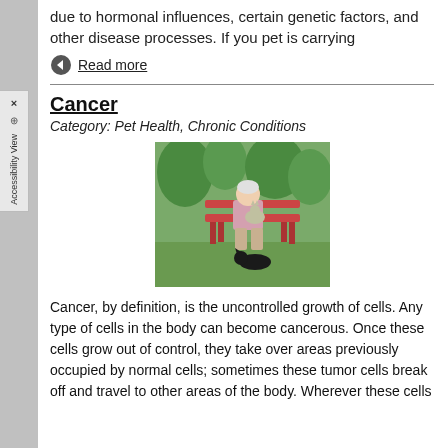due to hormonal influences, certain genetic factors, and other disease processes. If you pet is carrying
Read more
Cancer
Category: Pet Health, Chronic Conditions
[Figure (photo): An elderly person sitting on a red bench in a garden with a cat on their lap and a small dog on the ground in front of them]
Cancer, by definition, is the uncontrolled growth of cells. Any type of cells in the body can become cancerous. Once these cells grow out of control, they take over areas previously occupied by normal cells; sometimes these tumor cells break off and travel to other areas of the body. Wherever these cells